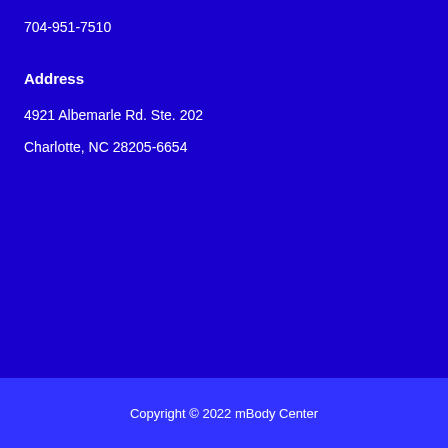704-951-7510
Address
4921 Albemarle Rd. Ste. 202
Charlotte, NC 28205-6654
Copyright © 2022 mBody Center